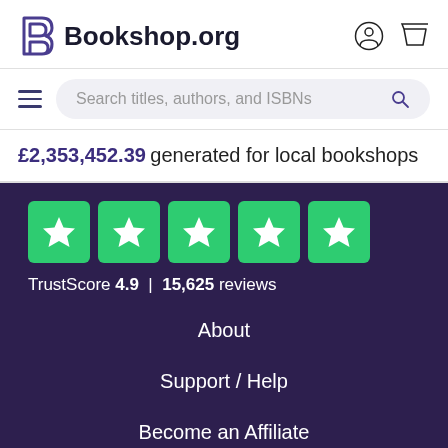Bookshop.org
Search titles, authors, and ISBNs
£2,353,452.39 generated for local bookshops
[Figure (other): Trustpilot 5 green star rating boxes with TrustScore 4.9 | 15,625 reviews]
About
Support / Help
Become an Affiliate
Gift Cards
Bookshop for Authors